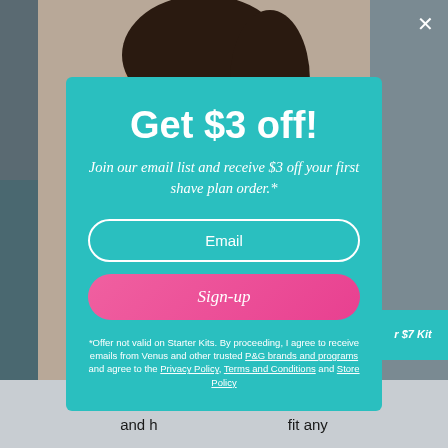[Figure (photo): Background image of a woman shaving her underarm with a Venus razor, overlaid with a teal promotional modal popup.]
Get $3 off!
Join our email list and receive $3 off your first shave plan order.*
Email
Sign-up
*Offer not valid on Starter Kits. By proceeding, I agree to receive emails from Venus and other trusted P&G brands and programs and agree to the Privacy Policy, Terms and Conditions and Store Policy
Your ski... blades and h... fit any